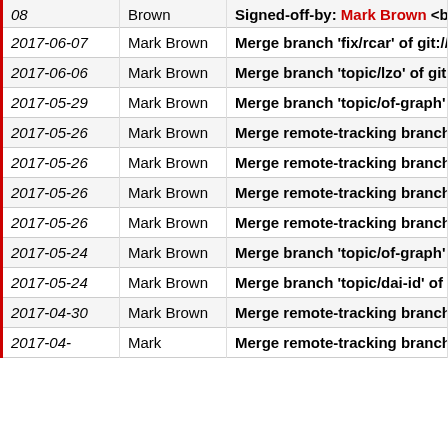| Date | Author | Message |
| --- | --- | --- |
|  | Brown | Signed-off-by: Mark Brown <broonie... |
| 2017-06-07 | Mark Brown | Merge branch 'fix/rcar' of git://git.k... |
| 2017-06-06 | Mark Brown | Merge branch 'topic/lzo' of git://git.... |
| 2017-05-29 | Mark Brown | Merge branch 'topic/of-graph' of g... |
| 2017-05-26 | Mark Brown | Merge remote-tracking branch 'as... |
| 2017-05-26 | Mark Brown | Merge remote-tracking branches '... |
| 2017-05-26 | Mark Brown | Merge remote-tracking branch 'as... |
| 2017-05-26 | Mark Brown | Merge remote-tracking branch 'as... |
| 2017-05-24 | Mark Brown | Merge branch 'topic/of-graph' of g... |
| 2017-05-24 | Mark Brown | Merge branch 'topic/dai-id' of git://... |
| 2017-04-30 | Mark Brown | Merge remote-tracking branch 'reg... |
| 2017-04- | Mark | Merge remote-tracking branches '... |